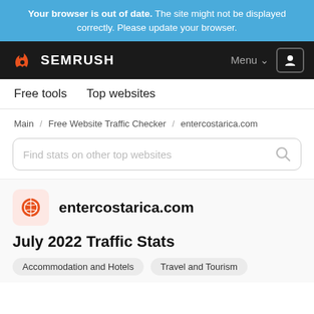Your browser is out of date. The site might not be displayed correctly. Please update your browser.
[Figure (logo): SEMrush logo with orange flame icon and white SEMRUSH text on black background, with Menu and user icon buttons]
Free tools   Top websites
Main / Free Website Traffic Checker / entercostarica.com
Find stats on other top websites
entercostarica.com
July 2022 Traffic Stats
Accommodation and Hotels   Travel and Tourism